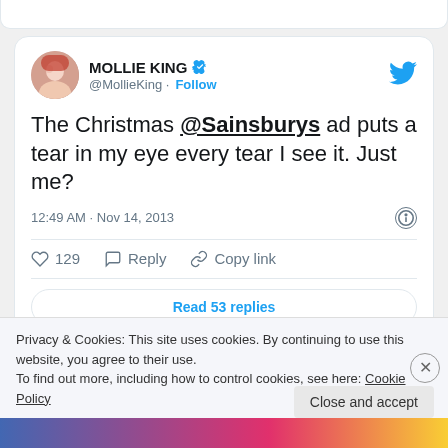[Figure (screenshot): Tweet card from MOLLIE KING (@MollieKing) with Follow button, verified badge, Twitter bird logo, tweet text, timestamp, actions (like 129, Reply, Copy link), and Read 53 replies button]
The Christmas @Sainsburys ad puts a tear in my eye every tear I see it. Just me?
12:49 AM · Nov 14, 2013
129  Reply  Copy link
Read 53 replies
… but the star of the trailer however has to be
Privacy & Cookies: This site uses cookies. By continuing to use this website, you agree to their use.
To find out more, including how to control cookies, see here: Cookie Policy